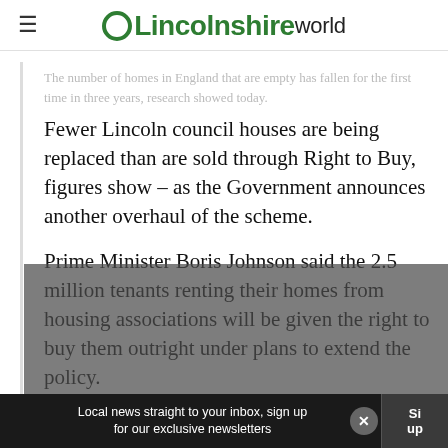Lincolnshire World
The number of homes in England that are empty has fallen for the first time in three years, research showed today.
Fewer Lincoln council houses are being replaced than are sold through Right to Buy, figures show – as the Government announces another overhaul of the scheme.
Prime Minister Boris Johnson said the 2.5 million tenants renting their homes from housing associations will be given the right to buy them outright under plans to extend the policy.
Local news straight to your inbox, sign up for our exclusive newsletters